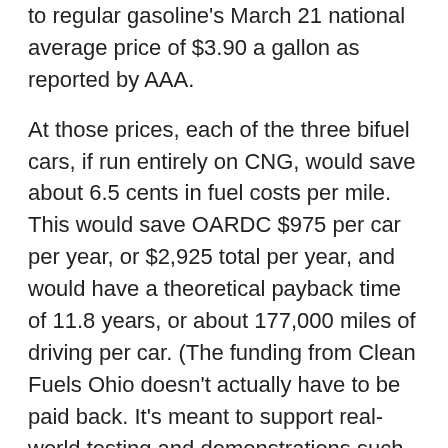to regular gasoline's March 21 national average price of $3.90 a gallon as reported by AAA.
At those prices, each of the three bifuel cars, if run entirely on CNG, would save about 6.5 cents in fuel costs per mile. This would save OARDC $975 per car per year, or $2,925 total per year, and would have a theoretical payback time of 11.8 years, or about 177,000 miles of driving per car. (The funding from Clean Fuels Ohio doesn't actually have to be paid back. It's meant to support real-world testing and demonstrations such as this, Currie said.)